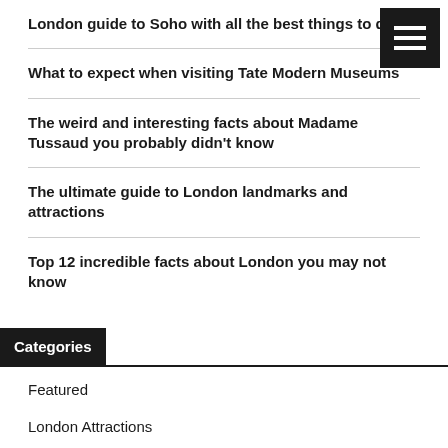London guide to Soho with all the best things to do
What to expect when visiting Tate Modern Museums
The weird and interesting facts about Madame Tussaud you probably didn't know
The ultimate guide to London landmarks and attractions
Top 12 incredible facts about London you may not know
Categories
Featured
London Attractions
London Christmas Market & Activities
London Events
London Soho